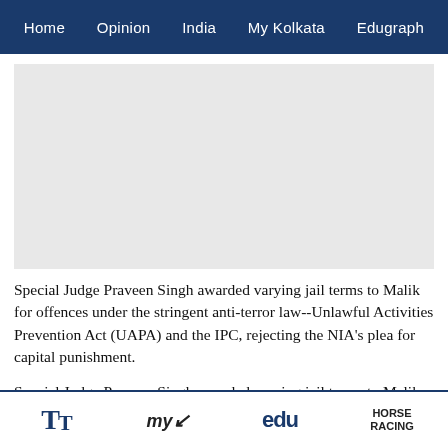Home | Opinion | India | My Kolkata | Edugraph
[Figure (other): Advertisement / image placeholder (grey rectangle)]
Special Judge Praveen Singh awarded varying jail terms to Malik for offences under the stringent anti-terror law--Unlawful Activities Prevention Act (UAPA) and the IPC, rejecting the NIA's plea for capital punishment.
Special Judge Praveen Singh awarded varying jail terms to Malik for offences under the stringent anti-
TT | my kolkata | edu | HORSE RACING